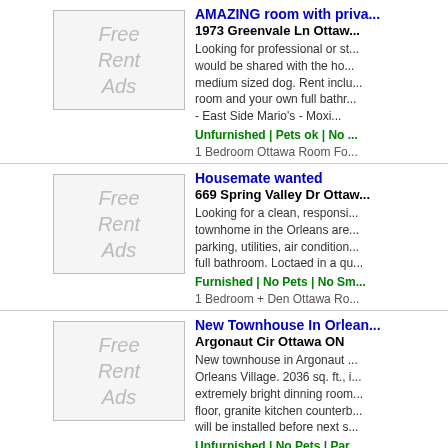AMAZING room with priva... | 1973 Greenvale Ln Ottawa | Looking for professional or st... would be shared with the ho... medium sized dog. Rent inclu... room and your own full bathr... - East Side Mario's - Moxi... | Unfurnished | Pets ok | No ... | 1 Bedroom Ottawa Room Fo...
[Figure (other): Free Rent Ads placeholder thumbnail image]
Housemate wanted | 669 Spring Valley Dr Ottawa... | Looking for a clean, responsi... townhome in the Orleans are... parking, utilities, air condition... full bathroom. Loctaed in a qu... | Furnished | No Pets | No Sm... | 1 Bedroom + Den Ottawa Ro...
[Figure (other): Free Rent Ads placeholder thumbnail image]
New Townhouse In Orleans... | Argonaut Cir Ottawa ON | New townhouse in Argonaut ... Orleans Village. 2036 sq. ft., i... extremely bright dinning room... floor, granite kitchen counterb... will be installed before next s... | Unfurnished | No Pets | Par... | 3 Bedroom Ottawa Townhous...
[Figure (other): Free Rent Ads placeholder thumbnail image]
April 15 or May 1st | Innes Rd Ottawa ON